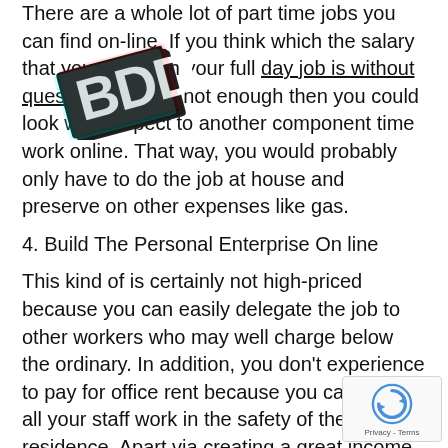There are a whole lot of part time jobs you can find on-line. If you think which the salary that you earn with your full day job is without question certainly not enough then you could look with respect to another component time work online. That way, you would probably only have to do the job at house and preserve on other expenses like gas.
4. Build The Personal Enterprise On line
This kind of is certainly not high-priced because you can easily delegate the job to other workers who may well charge below the ordinary. In addition, you don't experience to pay for office rent because you can have all your staff work in the safety of their own residence. Apart via creating a great income for your self, you offer other people with job.
5. Blogging and site-building
[Figure (logo): Partially visible bold/3D styled logo watermark overlaid on the top-left of the text (partially obscuring text)]
[Figure (logo): reCAPTCHA badge in bottom-right corner with circular arrow icon and 'Privacy - Terms' text]